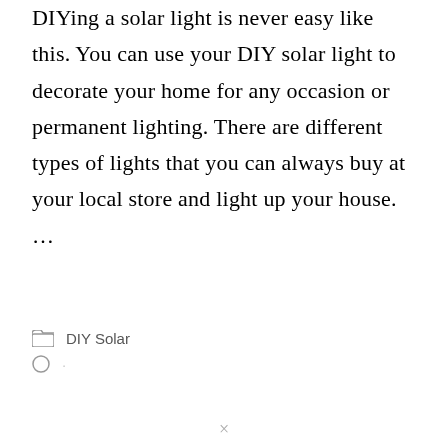DIYing a solar light is never easy like this. You can use your DIY solar light to decorate your home for any occasion or permanent lighting. There are different types of lights that you can always buy at your local store and light up your house. …
READ MORE
DIY Solar